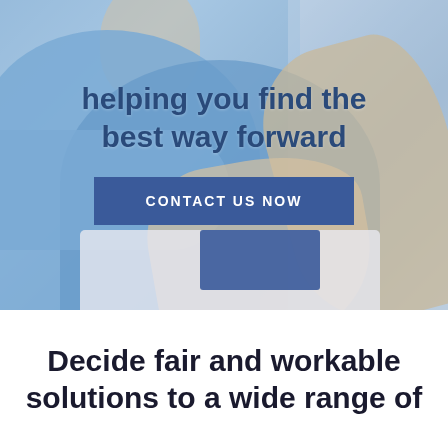[Figure (photo): Blurred photo background of two men in blue shirts in a business meeting, one gesturing with hand, papers and binder on desk, overlaid with headline text and a contact button]
helping you find the best way forward
CONTACT US NOW
Decide fair and workable solutions to a wide range of